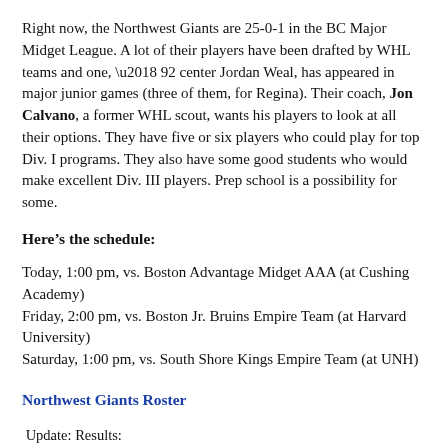Right now, the Northwest Giants are 25-0-1 in the BC Major Midget League. A lot of their players have been drafted by WHL teams and one, ‘92 center Jordan Weal, has appeared in major junior games (three of them, for Regina). Their coach, Jon Calvano, a former WHL scout, wants his players to look at all their options. They have five or six players who could play for top Div. I programs. They also have some good students who would make excellent Div. III players. Prep school is a possibility for some.
Here’s the schedule:
Today, 1:00 pm, vs. Boston Advantage Midget AAA (at Cushing Academy)
Friday, 2:00 pm, vs. Boston Jr. Bruins Empire Team (at Harvard University)
Saturday, 1:00 pm, vs. South Shore Kings Empire Team (at UNH)
Northwest Giants Roster
Update: Results:
Thurs. Jan. 10, 2008 -- Northwest Giants 1, Boston Advantage,